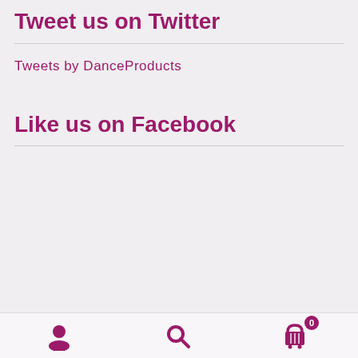Tweet us on Twitter
Tweets by DanceProducts
Like us on Facebook
User icon | Search icon | Cart icon with badge 0